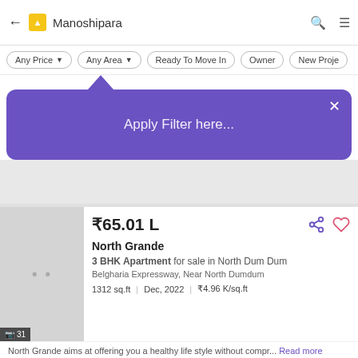Manoshipara
Any Price | Any Area | Ready To Move In | Owner | New Project
Apply Filter here...
₹65.01 L
North Grande
3 BHK Apartment for sale in North Dum Dum
Belgharia Expressway, Near North Dumdum
1312 sq.ft | Dec, 2022 | ₹4.96 K/sq.ft
North Grande aims at offering you a healthy life style without compr... Read more
1.8 km from Manoshipara